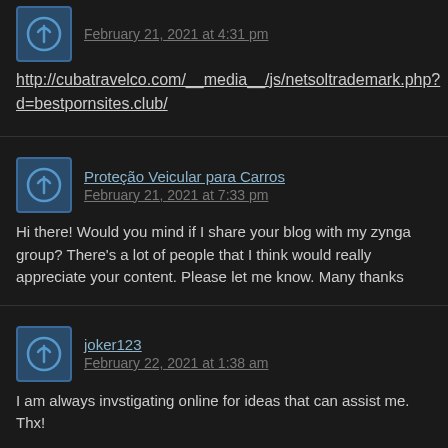February 21, 2021 at 4:31 pm
http://cubatravelco.com/__media__/js/netsoltrademark.php?d=bestpornsites.club/
Proteção Veicular para Carros
February 21, 2021 at 7:33 pm
Hi there! Would you mind if I share your blog with my zynga group? There's a lot of people that I think would really appreciate your content. Please let me know. Many thanks
joker123
February 22, 2021 at 1:38 am
I am always invstigating online for ideas that can assist me. Thx!
สล็อตออนไลน์
February 22, 2021 at 3:58 am
Howdy! I just want to give you a huge thumbs up for your great info you have got h